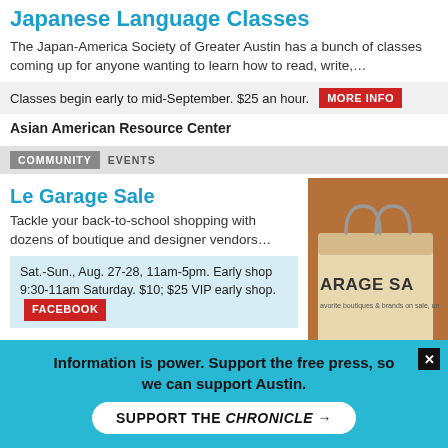Japanese Language Classes
The Japan-America Society of Greater Austin has a bunch of classes coming up for anyone wanting to learn how to read, write,…
Classes begin early to mid-September. $25 an hour.
Asian American Resource Center
COMMUNITY  EVENTS
Le Garage Sale
Tackle your back-to-school shopping with dozens of boutique and designer vendors…
Sat.-Sun., Aug. 27-28, 11am-5pm. Early shop 9:30-11am Saturday. $10; $25 VIP early shop.
Palmer Events Center
COMMUNITY  EVENTS
Live Music at Wanderlust
Information is power. Support the free press, so we can support Austin.
SUPPORT THE CHRONICLE →